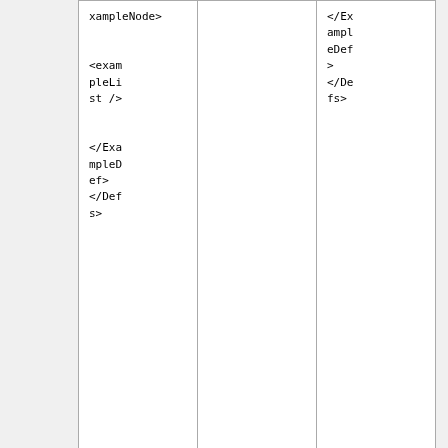| Def before patch | Patch operation | Def after patch |
| --- | --- | --- |
| <ExampleNode>

<exampleList />

</ExampleDef>
</Defs> |  | </ExampleDef>
</Defs> |
PatchOperationReplace
PatchOperationReplace replaces the selected node.
| Def before patch | Patch operation | Def after patch |
| --- | --- | --- |
| <Defs>
< | <Operation Class="PatchO | <Defs>
<Example |